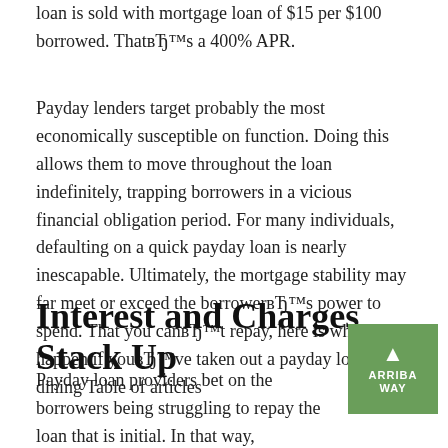loan is sold with mortgage loan of $15 per $100 borrowed. That's a 400% APR.
Payday lenders target probably the most economically susceptible on function. Doing this allows them to move throughout the loan indefinitely, trapping borrowers in a vicious financial obligation period. For many individuals, defaulting on a quick payday loan is nearly inescapable. Ultimately, the mortgage stability may far meet or exceed the borrower's power to spend. That you can't repay, here is what will happen if you've taken out a payday loan. dining Table of articles
Interest and Charges Stack Up
Payday loan providers bet on the borrowers being struggling to repay the loan that is initial. In that way, rollover's can be offered by them. A rollover